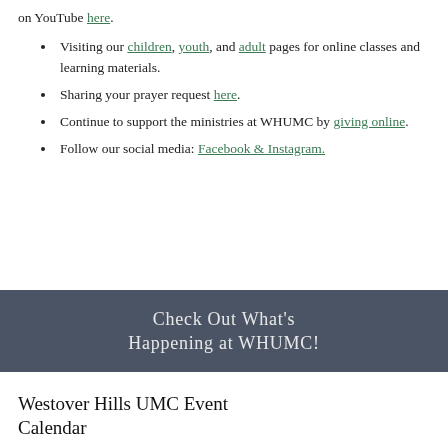on YouTube here.
Visiting our children, youth, and adult pages for online classes and learning materials.
Sharing your prayer request here.
Continue to support the ministries at WHUMC by giving online.
Follow our social media: Facebook & Instagram.
[Figure (other): Dark gray banner with text: CHECK OUT WHAT'S HAPPENING AT WHUMC!]
Westover Hills UMC Event Calendar